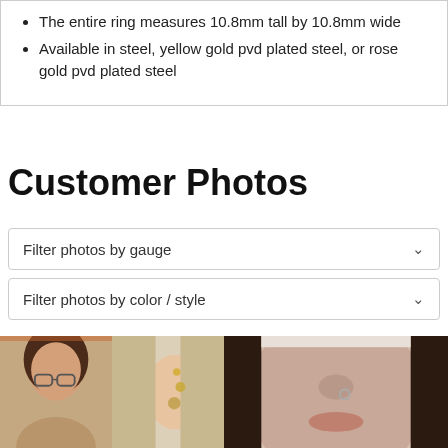The entire ring measures 10.8mm tall by 10.8mm wide
Available in steel, yellow gold pvd plated steel, or rose gold pvd plated steel
Customer Photos
Filter photos by gauge
Filter photos by color / style
[Figure (photo): Three customer photos showing people wearing body jewelry: a woman with glasses and curly hair, a close-up of an ear with jewelry, and a close-up of a face with a nose ring.]